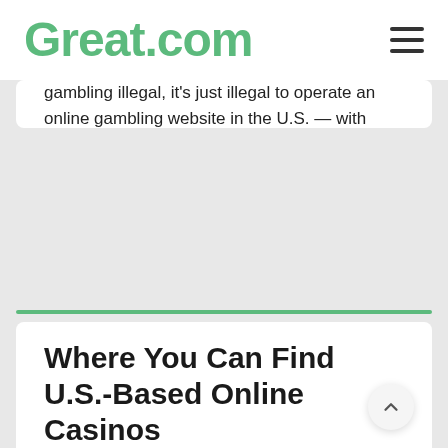Great.com
gambling illegal, it's just illegal to operate an online gambling website in the U.S. — with some exceptions, of course, as we'll get into below.
Just know that, in the end, Americans don't have to worry about doing anything illegal by simply playing roulette online.
Where You Can Find U.S.-Based Online Casinos
Due to regulations in the U.S., most states have banned online gambling within their borders. There is no federal la